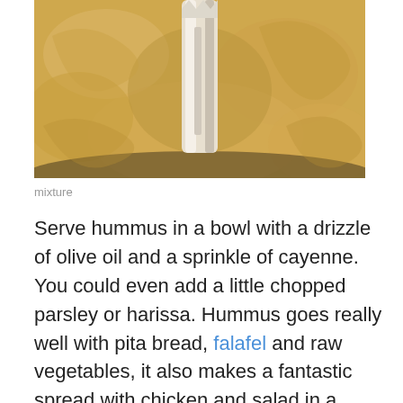[Figure (photo): Close-up photo of hummus in a bowl with a food processor blade visible in the center, creamy beige mixture filling the frame.]
mixture
Serve hummus in a bowl with a drizzle of olive oil and a sprinkle of cayenne. You could even add a little chopped parsley or harissa. Hummus goes really well with pita bread, falafel and raw vegetables, it also makes a fantastic spread with chicken and salad in a sandwich. If you make too much, hummus will keep for several days in the fridge. Home made hummus costs a fraction of the supermarket price and is far better for you, as it contains no preservatives, colouring or flavour enhancers!